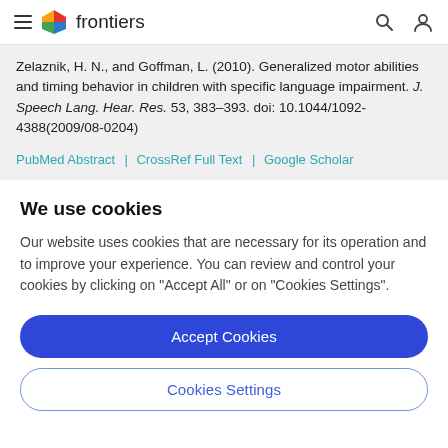frontiers
Zelaznik, H. N., and Goffman, L. (2010). Generalized motor abilities and timing behavior in children with specific language impairment. J. Speech Lang. Hear. Res. 53, 383–393. doi: 10.1044/1092-4388(2009/08-0204)
PubMed Abstract | CrossRef Full Text | Google Scholar
We use cookies
Our website uses cookies that are necessary for its operation and to improve your experience. You can review and control your cookies by clicking on "Accept All" or on "Cookies Settings".
Accept Cookies
Cookies Settings